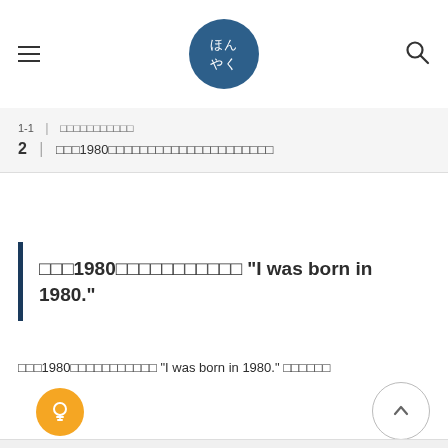ほんやく
1-1 | □□□□□□□□□□□
2 | □□□1980□□□□□□□□□□□□□□□□□□□□□
□□□1980□□□□□□□□□□□ “I was born in 1980.”
□□□1980□□□□□□□□□□□ “I was born in 1980.” □□□□□□